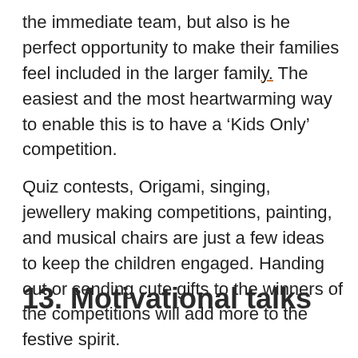the immediate team, but also is he perfect opportunity to make their families feel included in the larger family. The easiest and the most heartwarming way to enable this is to have a ‘Kids Only’ competition.
Quiz contests, Origami, singing, jewellery making competitions, painting, and musical chairs are just a few ideas to keep the children engaged. Handing out or sending cute gifts to the winners of the competitions will add more to the festive spirit.
13. Motivational talks